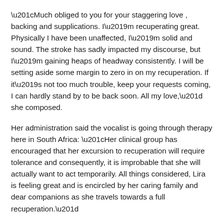“Much obliged to you for your staggering love , backing and supplications. I’m recuperating great. Physically I have been unaffected, I’m solid and sound. The stroke has sadly impacted my discourse, but I’m gaining heaps of headway consistently. I will be setting aside some margin to zero in on my recuperation. If it’s not too much trouble, keep your requests coming, I can hardly stand by to be back soon. All my love,” she composed.
Her administration said the vocalist is going through therapy here in South Africa: “Her clinical group has encouraged that her excursion to recuperation will require tolerance and consequently, it is improbable that she will actually want to act temporarily. All things considered, Lira is feeling great and is encircled by her caring family and dear companions as she travels towards a full recuperation.”